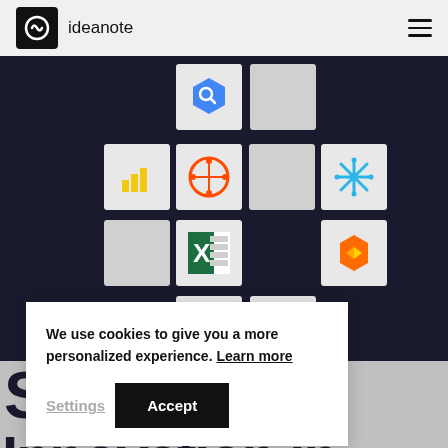ideanote
[Figure (screenshot): Ideanote integrations grid showing various app icons (Google BigQuery, Power BI, Zapier, Snowflake, Excel, Instacart/delivery, Mailchimp, Google) arranged in a cross/diamond pattern on a dark navy background]
We use cookies to give you a more personalized experience. Learn more
Settings
Accept
S...h Innovation in